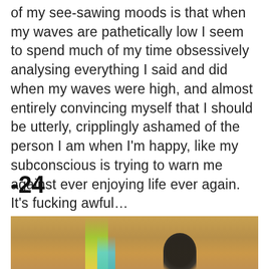of my see-sawing moods is that when my waves are pathetically low I seem to spend much of my time obsessively analysing everything I said and did when my waves were high, and almost entirely convincing myself that I should be utterly, cripplingly ashamed of the person I am when I'm happy, like my subconscious is trying to warn me against ever enjoying life ever again. It's fucking awful…
-24
[Figure (photo): Partial photo of a person's torso/hands with colorful accessories including yellow-green and blue chevron pattern and dark floral decoration, against a warm golden-tan background]